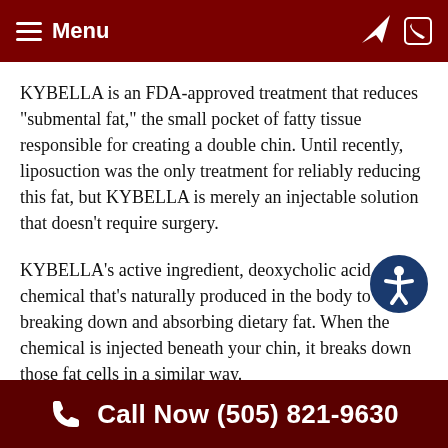Menu
KYBELLA is an FDA-approved treatment that reduces “submental fat,” the small pocket of fatty tissue responsible for creating a double chin. Until recently, liposuction was the only treatment for reliably reducing this fat, but KYBELLA is merely an injectable solution that doesn’t require surgery.
KYBELLA’s active ingredient, deoxycholic acid, is a chemical that’s naturally produced in the body to aid in breaking down and absorbing dietary fat. When the chemical is injected beneath your chin, it breaks down those fat cells in a similar way.
The fat cells are permanently destroyed and expelled from
Call Now (505) 821-9630